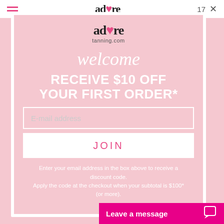[Figure (screenshot): Website screenshot showing adore tanning.com popup modal on a pink background with welcome offer]
welcome
RECEIVE $10 OFF YOUR FIRST ORDER*
E-mail address
JOIN
Enter your email address in the box above to receive a discount code. Apply the code at the checkout when your subtotal is $100* (or more).
Leave a message